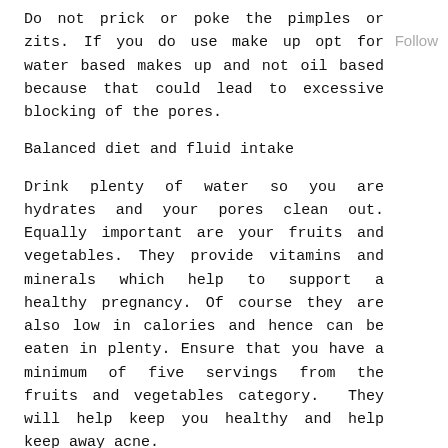Do not prick or poke the pimples or zits. If you do use make up opt for water based makes up and not oil based because that could lead to excessive blocking of the pores.
Follow
Balanced diet and fluid intake
Drink plenty of water so you are hydrates and your pores clean out. Equally important are your fruits and vegetables. They provide vitamins and minerals which help to support a healthy pregnancy. Of course they are also low in calories and hence can be eaten in plenty. Ensure that you have a minimum of five servings from the fruits and vegetables category.  They will help keep you healthy and help keep away acne.
Over the counter medication